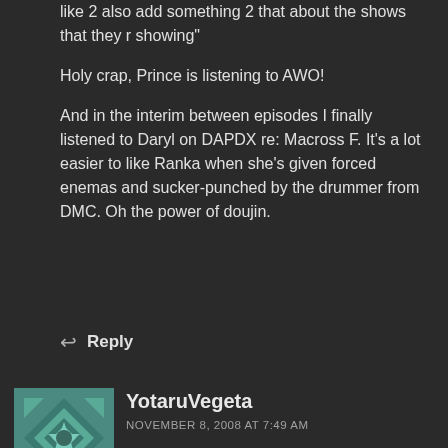like 2 also add something 2 that about the shows that they r showing"
Holy crap, Prince is listening to AWO!
And in the interim between episodes I finally listened to Daryl on DAPDX re: Macross F. It's a lot easier to like Ranka when she's given forced enemas and sucker-punched by the drummer from DMC. Oh the power of doujin.
Reply
YotaruVegeta
NOVEMBER 8, 2008 AT 7:49 AM
poisoned will, I have to be in defense of these non-anime shows. I tutor kids, and they love